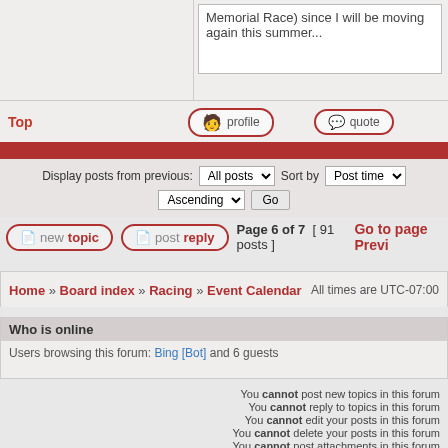Memorial Race) since I will be moving again this summer...
Top  profile  quote
Display posts from previous: All posts  Sort by Post time  Ascending  Go
new topic  post reply  Page 6 of 7 [ 91 posts ]  Go to page Previ
Home » Board index » Racing » Event Calendar  All times are UTC-07:00
Who is online
Users browsing this forum: Bing [Bot] and 6 guests
You cannot post new topics in this forum
You cannot reply to topics in this forum
You cannot edit your posts in this forum
You cannot delete your posts in this forum
You cannot post attachments in this forum
Search for:
Jump to: Event Calendar  Go
Go
Powered by phpBB® Forum Software © phpBB Limited